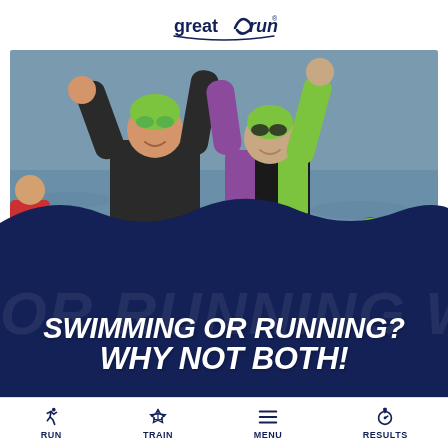[Figure (logo): Great Run logo in dark navy blue with stylized swoosh]
[Figure (photo): Two athletes in wetsuits and green swim caps celebrating after an open water swim, raising hands together, water and other swimmers in background]
SWIMMING OR RUNNING? WHY NOT BOTH!
RUN  TRAIN  MENU  RESULTS